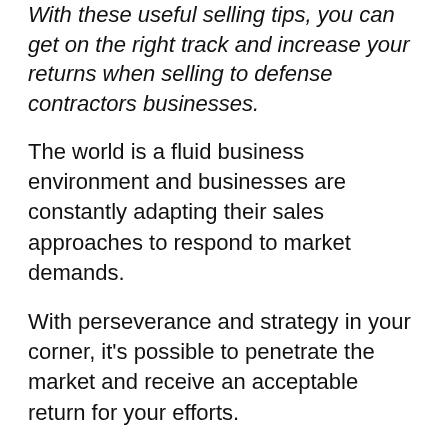With these useful selling tips, you can get on the right track and increase your returns when selling to defense contractors businesses.
The world is a fluid business environment and businesses are constantly adapting their sales approaches to respond to market demands.
With perseverance and strategy in your corner, it's possible to penetrate the market and receive an acceptable return for your efforts.
Cost Analysis of Your Selling Tactics
Every part of your sales strategy should be